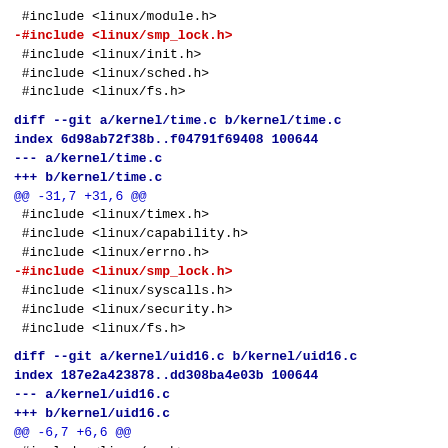#include <linux/module.h>
-#include <linux/smp_lock.h>
#include <linux/init.h>
#include <linux/sched.h>
#include <linux/fs.h>
diff --git a/kernel/time.c b/kernel/time.c
index 6d98ab72f38b..f04791f69408 100644
--- a/kernel/time.c
+++ b/kernel/time.c
@@ -31,7 +31,6 @@
#include <linux/timex.h>
#include <linux/capability.h>
#include <linux/errno.h>
-#include <linux/smp_lock.h>
#include <linux/syscalls.h>
#include <linux/security.h>
#include <linux/fs.h>
diff --git a/kernel/uid16.c b/kernel/uid16.c
index 187e2a423878..dd308ba4e03b 100644
--- a/kernel/uid16.c
+++ b/kernel/uid16.c
@@ -6,7 +6,6 @@
#include <linux/mm.h>
#include <linux/utsname.h>
#include <linux/mman.h>